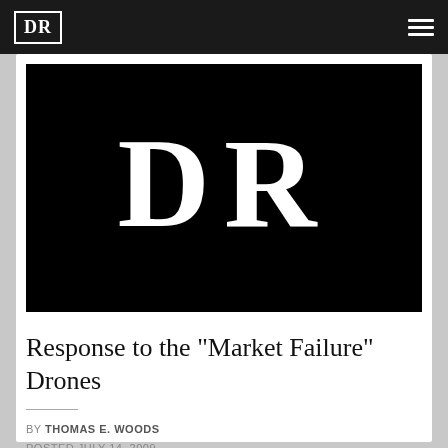DR
[Figure (logo): Large white 'DR' serif letters on black background, representing the Daily Reckoning or similar publication logo]
Response to the "Market Failure" Drones
BY THOMAS E. WOODS
POSTED JULY 14, 2009